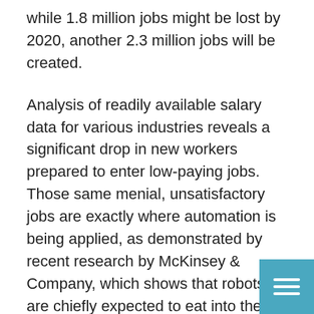while 1.8 million jobs might be lost by 2020, another 2.3 million jobs will be created.
Analysis of readily available salary data for various industries reveals a significant drop in new workers prepared to enter low-paying jobs. Those same menial, unsatisfactory jobs are exactly where automation is being applied, as demonstrated by recent research by McKinsey & Company, which shows that robots are chiefly expected to eat into the job market for predictable and routine work.
Graduates emerge from their studies having picked up technical skills that are required the industries they have chosen to pursue a